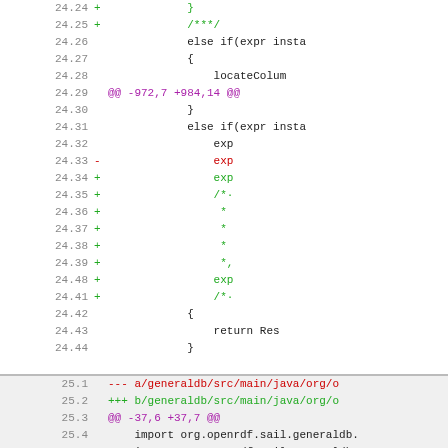[Figure (screenshot): Diff view of source code showing two file sections. Section 1 (white background) shows lines 24.24-24.44 with added and removed lines in a Java source file. Section 2 (gray background) shows lines 25.1-25.11 with file headers, hunk headers, and import statements including one added import.]